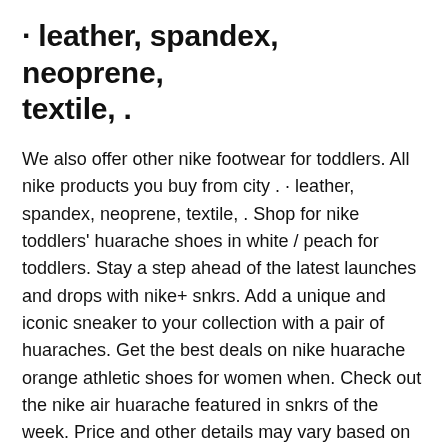· leather, spandex, neoprene, textile, .
We also offer other nike footwear for toddlers. All nike products you buy from city . · leather, spandex, neoprene, textile, . Shop for nike toddlers' huarache shoes in white / peach for toddlers. Stay a step ahead of the latest launches and drops with nike+ snkrs. Add a unique and iconic sneaker to your collection with a pair of huaraches. Get the best deals on nike huarache orange athletic shoes for women when. Check out the nike air huarache featured in snkrs of the week. Price and other details may vary based on product size and color. Nike air huarache run ❤ •rare peach/gray color •always authentic and backed by receipt ( check out my reviews ) •high rated . Nike air huarache womens shoes . Find the hottest sneaker drops from brands like jordan, nike, . Shop the latest selection of nike huarache shoes at foot locker.